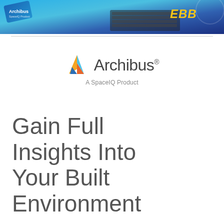[Figure (photo): Banner image showing Archibus software product cards and a keyboard with EBB text on a blue background]
[Figure (logo): Archibus logo with triangular A icon in blue, yellow, and orange, followed by 'Archibus' text and 'A SpaceIQ Product' tagline]
Gain Full Insights Into Your Built Environment